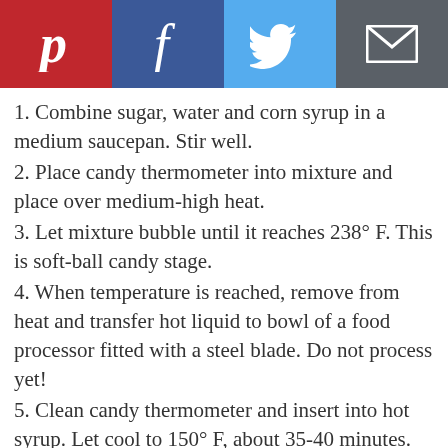[Figure (infographic): Social sharing bar with Pinterest (red), Facebook (dark blue), Twitter (light blue), and Email (dark gray) buttons with white icons]
1. Combine sugar, water and corn syrup in a medium saucepan. Stir well.
2. Place candy thermometer into mixture and place over medium-high heat.
3. Let mixture bubble until it reaches 238° F. This is soft-ball candy stage.
4. When temperature is reached, remove from heat and transfer hot liquid to bowl of a food processor fitted with a steel blade. Do not process yet!
5. Clean candy thermometer and insert into hot syrup. Let cool to 150° F, about 35-40 minutes.
6. Have a large bowl ready in which to pour fondant. Also, have a wire rack ready with a large jelly roll pan placed under it to catch excess fondant that falls off the cakes.
7. When thermometer reads 150° F, add food coloring and flavoring, then process for 2-3 minutes until mixture has turned from a clear liquid to opaque.
8. Immediately pour fondant into a bowl for dipping.
9. Hold a cake square with your forefinger on top — the